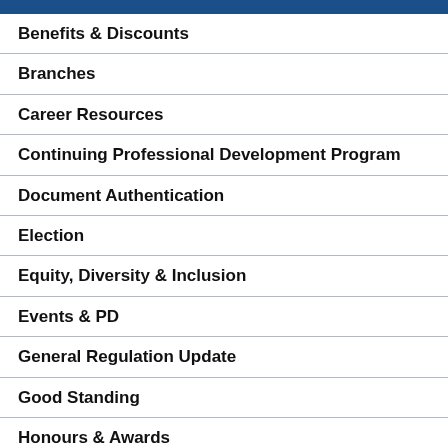Benefits & Discounts
Branches
Career Resources
Continuing Professional Development Program
Document Authentication
Election
Equity, Diversity & Inclusion
Events & PD
General Regulation Update
Good Standing
Honours & Awards